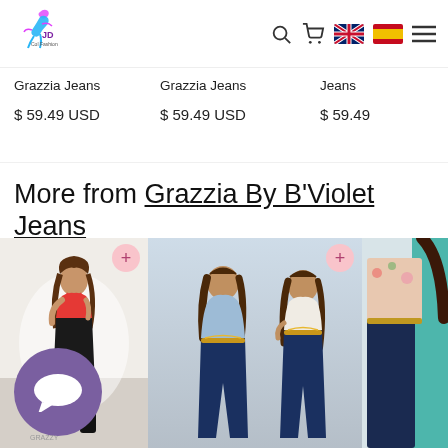JD Col Fashion logo with search, flag icons (EN, ES), cart and menu
Grazzia Jeans
$ 59.49 USD
Grazzia Jeans
$ 59.49 USD
Jeans
$ 59.49
More from Grazzia By B'Violet Jeans
[Figure (photo): Model wearing black jeans with red top, product REF_GR317]
[Figure (photo): Two models wearing dark blue jeans with light blue and white tops]
[Figure (photo): Model wearing dark jeans with floral top, partially visible]